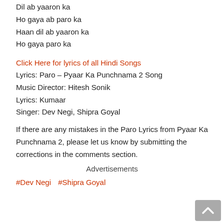Dil ab yaaron ka
Ho gaya ab paro ka
Haan dil ab yaaron ka
Ho gaya paro ka
Click Here for lyrics of all Hindi Songs
Lyrics: Paro – Pyaar Ka Punchnama 2 Song
Music Director: Hitesh Sonik
Lyrics: Kumaar
Singer: Dev Negi, Shipra Goyal
If there are any mistakes in the Paro Lyrics from Pyaar Ka Punchnama 2, please let us know by submitting the corrections in the comments section.
Advertisements
#Dev Negi  #Shipra Goyal